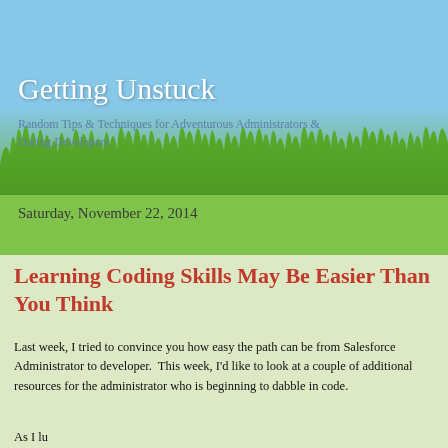Getting Unstuck
Random Tips & Techniques for Adventurous Administrators & Daring Developers
Saturday, November 22, 2014
Learning Coding Skills May Be Easier Than You Think
Last week, I tried to convince you how easy the path can be from Salesforce Administrator to developer.  This week, I'd like to look at a couple of additional resources for the administrator who is beginning to dabble in code.
As I lu...